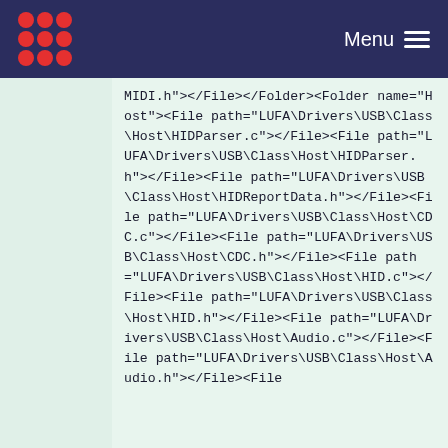Menu
MIDI.h"></File></Folder><Folder name="Host"><File path="LUFA\Drivers\USB\Class\Host\HIDParser.c"></File><File path="LUFA\Drivers\USB\Class\Host\HIDParser.h"></File><File path="LUFA\Drivers\USB\Class\Host\HIDReportData.h"></File><File path="LUFA\Drivers\USB\Class\Host\CDC.c"></File><File path="LUFA\Drivers\USB\Class\Host\CDC.h"></File><File path="LUFA\Drivers\USB\Class\Host\HID.c"></File><File path="LUFA\Drivers\USB\Class\Host\HID.h"></File><File path="LUFA\Drivers\USB\Class\Host\Audio.c"></File><File path="LUFA\Drivers\USB\Class\Host\Audio.h"></File><File